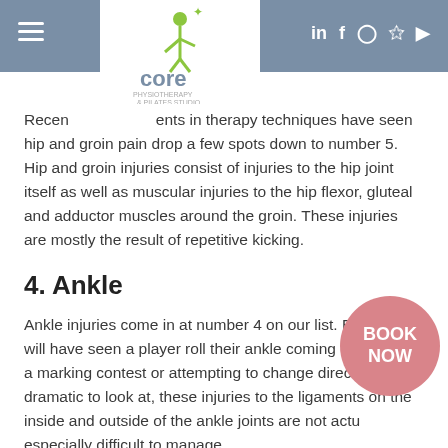Core Physiotherapy & Pilates Studio — navigation header with social icons
Recent developments in therapy techniques have seen hip and groin pain drop a few spots down to number 5. Hip and groin injuries consist of injuries to the hip joint itself as well as muscular injuries to the hip flexor, gluteal and adductor muscles around the groin. These injuries are mostly the result of repetitive kicking.
4. Ankle
Ankle injuries come in at number 4 on our list. Everyone will have seen a player roll their ankle coming down from a marking contest or attempting to change direction. While dramatic to look at, these injuries to the ligaments on the inside and outside of the ankle joints are not actually especially difficult to manage. Did you know? Ankle injuries are such common... many elite football, netball and basketball players... their ankles prophylactic-ally strapped before trainings and